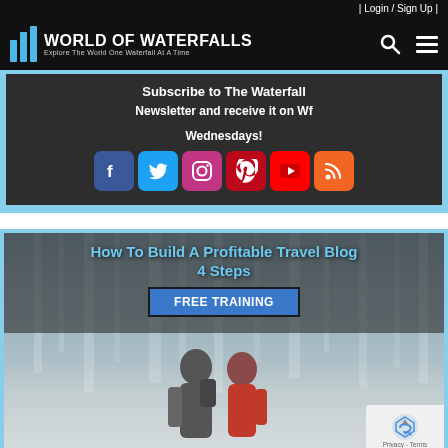| Login / Sign Up |
World of Waterfalls – Explore The World One Waterfall At A Time
Subscribe to The Waterfall Newsletter and receive it on Wednesdays!
[Figure (infographic): Social media icons: Facebook, Twitter, Instagram, Pinterest, YouTube, RSS]
[Figure (infographic): How To Build A Profitable Travel Blog 4 Steps – FREE TRAINING promotional image with waterfall background and two people]